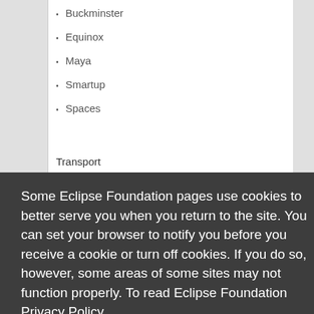Buckminster
Equinox
Maya
Smartup
Spaces
Transport
Some Eclipse Foundation pages use cookies to better serve you when you return to the site. You can set your browser to notify you before you receive a cookie or turn off cookies. If you do so, however, some areas of some sites may not function properly. To read Eclipse Foundation Privacy Policy click here.
Cross cutting concerns